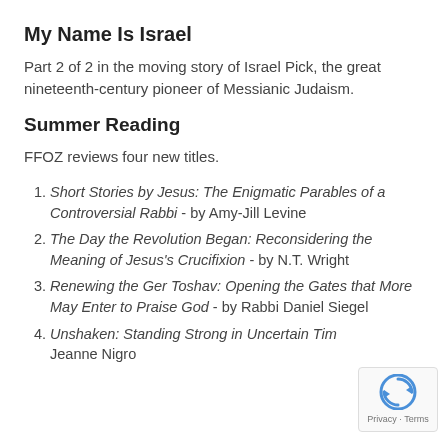My Name Is Israel
Part 2 of 2 in the moving story of Israel Pick, the great nineteenth-century pioneer of Messianic Judaism.
Summer Reading
FFOZ reviews four new titles.
Short Stories by Jesus: The Enigmatic Parables of a Controversial Rabbi - by Amy-Jill Levine
The Day the Revolution Began: Reconsidering the Meaning of Jesus's Crucifixion - by N.T. Wright
Renewing the Ger Toshav: Opening the Gates that More May Enter to Praise God - by Rabbi Daniel Siegel
Unshaken: Standing Strong in Uncertain Tim... Jeanne Nigro